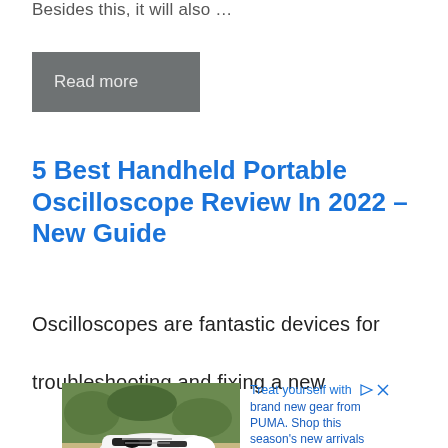Besides this, it will also …
Read more
5 Best Handheld Portable Oscilloscope Review In 2022 – New Guide
Oscilloscopes are fantastic devices for troubleshooting and fixing a new
[Figure (photo): Advertisement showing PUMA sneakers on sandy ground with text: Treat yourself with brand new gear from PUMA. Shop this season's new arrivals on PUMA.com]
Ad